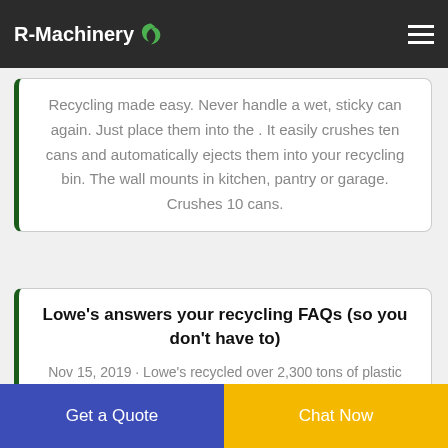R-Machinery
Recycling made easy. Never handle a wet, sticky can again. Just place them into the . It easily crushes ten cans and automatically ejects them into your recycling bin. The wall mounts in kitchen, pantry or garage. Crushes 10 cans.
Lowe's answers your recycling FAQs (so you don't have to)
Nov 15, 2019 · Lowe's recycled over 2,300 tons of plastic from its own operations in 2018. That's about the weight of 350 elephants. In 2018, Lowe's recycled the equivalent of the weight of 60,000 cars just in cardboard. We get it, recycling
Get a Quote  Chat Now